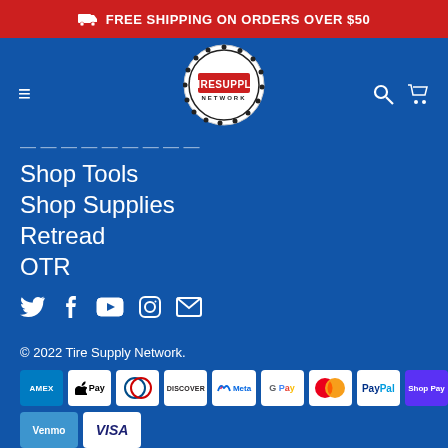FREE SHIPPING ON ORDERS OVER $50
[Figure (logo): Tire Supply Network circular logo with red box and tire tread border]
Shop Equipment (partially visible)
Shop Tools
Shop Supplies
Retread
OTR
[Figure (infographic): Social media icons: Twitter, Facebook, YouTube, Instagram, Email]
© 2022 Tire Supply Network.
[Figure (infographic): Payment method logos: American Express, Apple Pay, Diners Club, Discover, Meta Pay, Google Pay, Mastercard, PayPal, Shop Pay, Venmo, Visa]